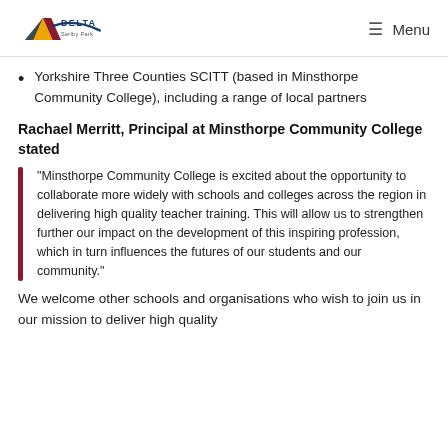Delta Serlby Park | Menu
Yorkshire Three Counties SCITT (based in Minsthorpe Community College), including a range of local partners
Rachael Merritt, Principal at Minsthorpe Community College stated
“Minsthorpe Community College is excited about the opportunity to collaborate more widely with schools and colleges across the region in delivering high quality teacher training. This will allow us to strengthen further our impact on the development of this inspiring profession, which in turn influences the futures of our students and our community.”
We welcome other schools and organisations who wish to join us in our mission to deliver high quality